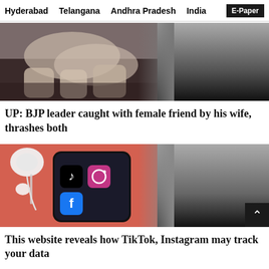Hyderabad   Telangana   Andhra Pradesh   India   E-Paper
[Figure (photo): Two people lying together, partially visible legs and torsos in light clothing, dark background]
UP: BJP leader caught with female friend by his wife, thrashes both
[Figure (photo): Smartphone showing TikTok and Instagram apps on screen with white earbuds on an orange/red background]
This website reveals how TikTok, Instagram may track your data